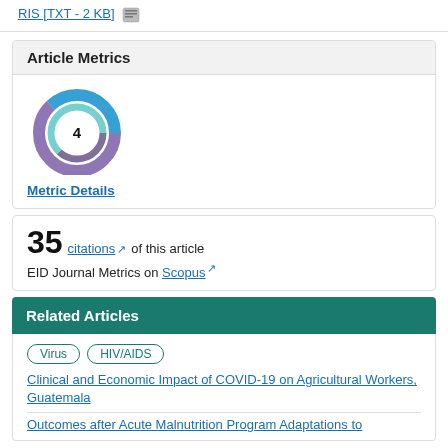RIS [TXT - 2 KB]
Article Metrics
[Figure (donut-chart): Donut chart showing citation metric with number 4 in center, colored in blue and purple tones]
Metric Details
35 citations of this article
EID Journal Metrics on Scopus
Related Articles
Virus  HIV/AIDS
Clinical and Economic Impact of COVID-19 on Agricultural Workers, Guatemala
Outcomes after Acute Malnutrition Program Adaptations to